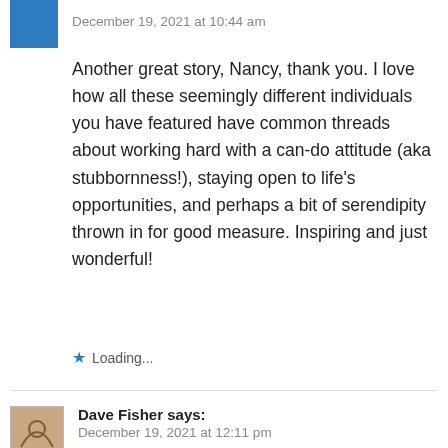December 19, 2021 at 10:44 am
Another great story, Nancy, thank you. I love how all these seemingly different individuals you have featured have common threads about working hard with a can-do attitude (aka stubbornness!), staying open to life's opportunities, and perhaps a bit of serendipity thrown in for good measure. Inspiring and just wonderful!
Loading...
Dave Fisher says:
December 19, 2021 at 12:11 pm
Thanks once again, Nancy. I've admired